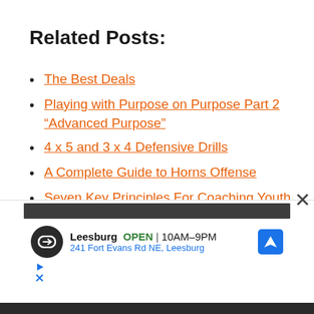Related Posts:
The Best Deals
Playing with Purpose on Purpose Part 2 “Advanced Purpose”
4 x 5 and 3 x 4 Defensive Drills
A Complete Guide to Horns Offense
Seven Key Principles For Coaching Youth Basketball
[Figure (screenshot): Advertisement banner showing Leesburg store location, OPEN 10AM-9PM, 241 Fort Evans Rd NE, Leesburg, with navigation icon, and a close (X) button in the top right corner.]